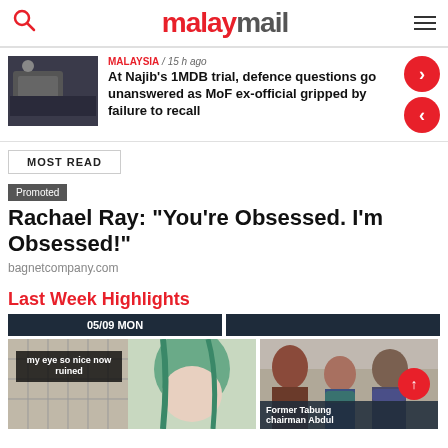malaymail
MALAYSIA / 15 h ago
At Najib's 1MDB trial, defence questions go unanswered as MoF ex-official gripped by failure to recall
MOST READ
Promoted
Rachael Ray: "You're Obsessed. I'm Obsessed!"
bagnetcompany.com
Last Week Highlights
05/09 MON
[Figure (photo): Left: woman with green hair and text overlay 'my eye so nice now ruined'. Right: Former Tabung chairman Abdul (partial image with red circle arrow overlay).]